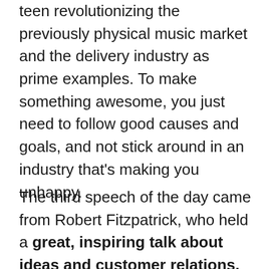teen revolutionizing the previously physical music market and the delivery industry as prime examples. To make something awesome, you just need to follow good causes and goals, and not stick around in an industry that's making you unhappy.
The third speech of the day came from Robert Fitzpatrick, who held a great, inspiring talk about ideas and customer relations. He reasoned that